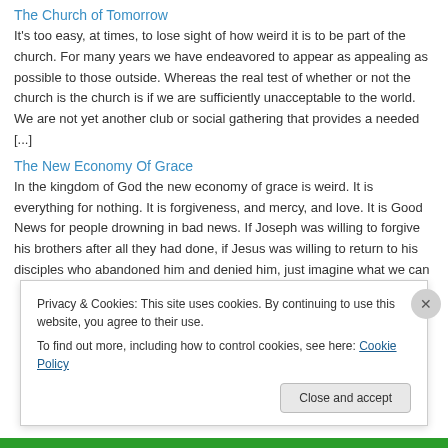The Church of Tomorrow
It's too easy, at times, to lose sight of how weird it is to be part of the church. For many years we have endeavored to appear as appealing as possible to those outside. Whereas the real test of whether or not the church is the church is if we are sufficiently unacceptable to the world. We are not yet another club or social gathering that provides a needed [...]
The New Economy Of Grace
In the kingdom of God the new economy of grace is weird. It is everything for nothing. It is forgiveness, and mercy, and love. It is Good News for people drowning in bad news. If Joseph was willing to forgive his brothers after all they had done, if Jesus was willing to return to his disciples who abandoned him and denied him, just imagine what we can
Privacy & Cookies: This site uses cookies. By continuing to use this website, you agree to their use.
To find out more, including how to control cookies, see here: Cookie Policy
Close and accept